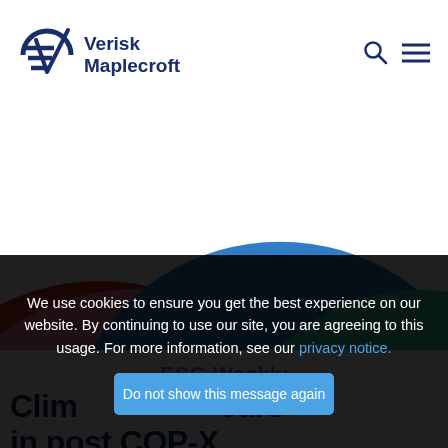Verisk Maplecroft
[Figure (illustration): Decorative overlapping arc shapes in red, pink, blue, and teal/green forming a stylized circular graphic]
We use cookies to ensure you get the best experience on our website. By continuing to use our site, you are agreeing to this usage. For more information, see our privacy notice.
Do not show this message again
ESG Weekly
Clim…ears in post COP-X…